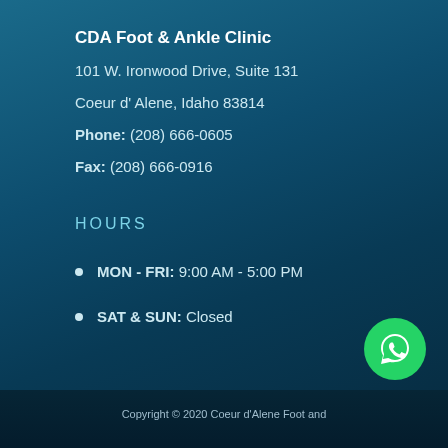CDA Foot & Ankle Clinic
101 W. Ironwood Drive, Suite 131
Coeur d' Alene, Idaho 83814
Phone: (208) 666-0605
Fax: (208) 666-0916
HOURS
MON - FRI: 9:00 AM - 5:00 PM
SAT & SUN: Closed
[Figure (logo): WhatsApp phone icon button, green circle with white phone handset]
Copyright © 2020 Coeur d'Alene Foot and